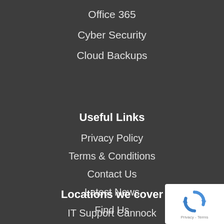Office 365
Cyber Security
Cloud Backups
Useful Links
Privacy Policy
Terms & Conditions
Contact Us
Latest News
Find Us
Sitemap
Locations we cover
IT Support Cannock
[Figure (logo): reCAPTCHA badge with blue circular arrow logo and Privacy - Terms text]